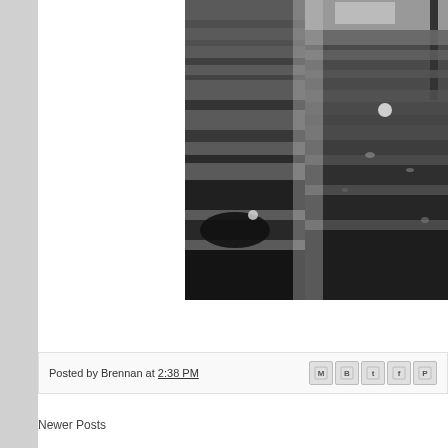[Figure (photo): Black and white photograph showing an outdoor grassy or field area. The image appears to be composed of two overlapping photos side by side, showing what looks like a park or yard with some objects on the ground. The photos are in grayscale/black and white.]
Posted by Brennan at 2:38 PM
Newer Posts